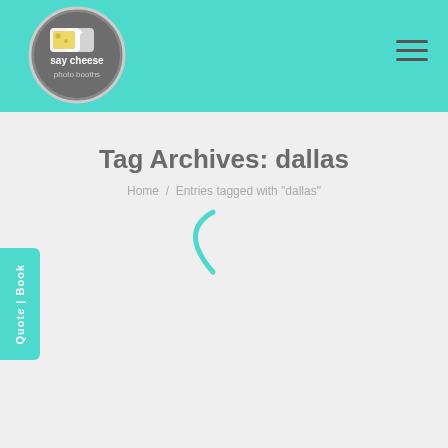say cheese photo booths
Tag Archives: dallas
Home / Entries tagged with "dallas"
[Figure (illustration): Teal loading spinner (partial parenthesis arc)]
Quote | Book